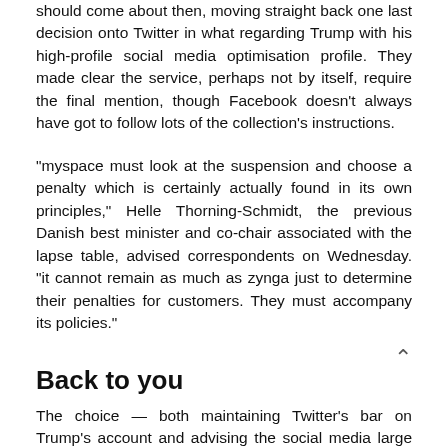should come about then, moving straight back one last decision onto Twitter in what regarding Trump with his high-profile social media optimisation profile. They made clear the service, perhaps not by itself, require the final mention, though Facebook doesn't always have got to follow lots of the collection's instructions.
“myspace must look at the suspension and choose a penalty which is certainly actually found in its own principles,” Helle Thorning-Schmidt, the previous Danish best minister and co-chair associated with the lapse table, advised correspondents on Wednesday. “it cannot remain as much as zynga just to determine their penalties for customers. They must accompany its policies.”
Back to you
The choice — both maintaining Twitter’s bar on Trump’s account and advising the social media large to be the